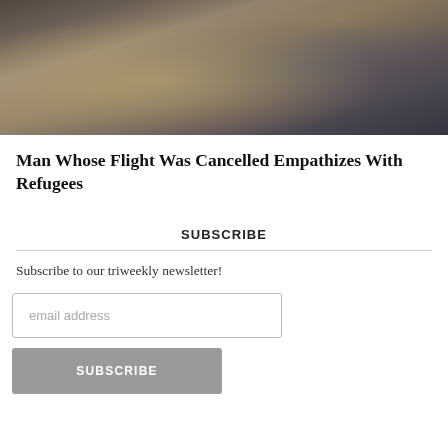[Figure (photo): Photo of a person sitting in an airport waiting area with luggage, wearing khaki pants and a dark top, with rows of airport seating visible in the background.]
Man Whose Flight Was Cancelled Empathizes With Refugees
SUBSCRIBE
Subscribe to our triweekly newsletter!
email address
SUBSCRIBE